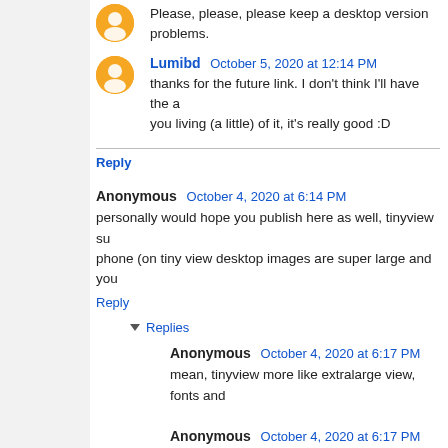Please, please, please keep a desktop version problems.
Lumibd October 5, 2020 at 12:14 PM
thanks for the future link. I don't think I'll have the a you living (a little) of it, it's really good :D
Reply
Anonymous October 4, 2020 at 6:14 PM
personally would hope you publish here as well, tinyview su phone (on tiny view desktop images are super large and you
Reply
Replies
Anonymous October 4, 2020 at 6:17 PM
mean, tinyview more like extralarge view, fonts and
Anonymous October 4, 2020 at 6:17 PM